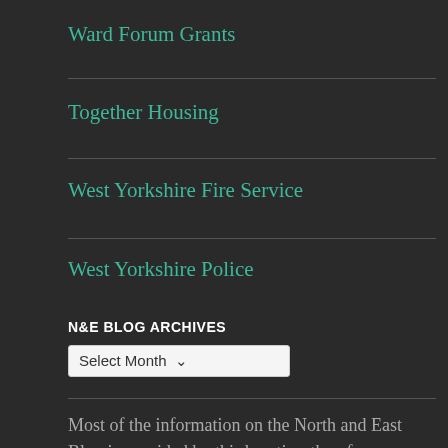Ward Forum Grants
Together Housing
West Yorkshire Fire Service
West Yorkshire Police
N&E BLOG ARCHIVES
Select Month
Most of the information on the North and East Blog is provided by third parties, therefore we are unable to verify details for each event.